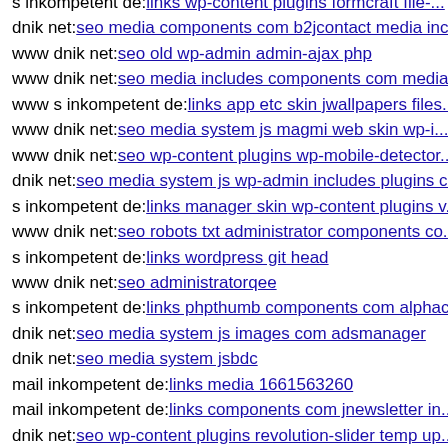s inkompetent de: links wp-content plugins formcraft file-...
dnik net: seo media components com b2jcontact media inc...
www dnik net: seo old wp-admin admin-ajax php
www dnik net: seo media includes components com media...
www s inkompetent de: links app etc skin jwallpapers files...
www dnik net: seo media system js magmi web skin wp-i...
www dnik net: seo wp-content plugins wp-mobile-detector...
dnik net: seo media system js wp-admin includes plugins c...
s inkompetent de: links manager skin wp-content plugins v...
www dnik net: seo robots txt administrator components co...
s inkompetent de: links wordpress git head
www dnik net: seo administratorqee
s inkompetent de: links phpthumb components com alphac...
dnik net: seo media system js images com adsmanager
dnik net: seo media system jsbdc
mail inkompetent de: links media 1661563260
mail inkompetent de: links components com jnewsletter in...
dnik net: seo wp-content plugins revolution-slider temp up...
s inkompetent de: links phpthumb phpthumb app etc dnik ...
www dnik net: seo media administrator components mail i...
dnik net: seo wp-content themes twentyfourteen core comp...